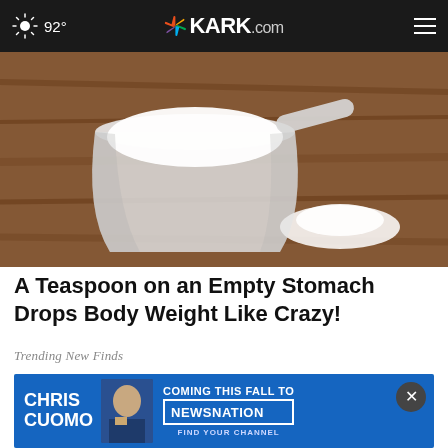92° | KARK.com
[Figure (photo): A measuring cup filled with white powder (likely protein powder or similar supplement) on a wooden surface, with a small pile of white powder beside it]
A Teaspoon on an Empty Stomach Drops Body Weight Like Crazy!
Trending New Finds
[Figure (photo): Advertisement for Chris Cuomo Coming This Fall to NewsNation - Find Your Channel, with a man's photo, overlaid on a light blue background image]